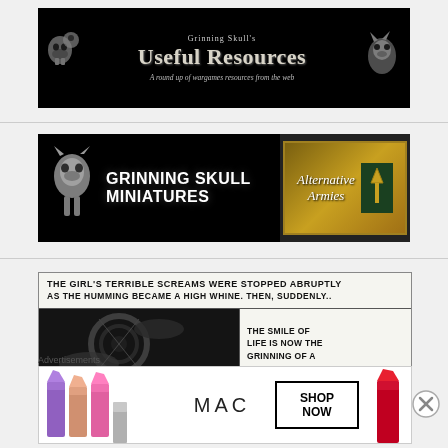[Figure (illustration): Grinning Skull's Useful Resources banner - black background with skull/monster illustrations on left, wolf on right, title text in center: 'Grinning Skull's Useful Resources - A round up of wargames resources from the web']
[Figure (illustration): Grinning Skull Miniatures banner - black background with gargoyle/skull character on left, bold white text 'GRINNING SKULL MINIATURES', gold Alternative Armies badge on right]
[Figure (illustration): Comic strip panel - text at top: 'THE GIRL'S TERRIBLE SCREAMS WERE STOPPED ABRUPTLY AS THE HUMMING BECAME A HIGH WHINE. THEN, SUDDENLY..' with dark sci-fi comic image below and text 'THE SMILE OF LIFE IS NOW THE GRINNING OF A']
Advertisements
[Figure (photo): MAC Cosmetics advertisement showing colorful lipsticks on left, MAC logo in center, SHOP NOW button, and red lipstick on right]